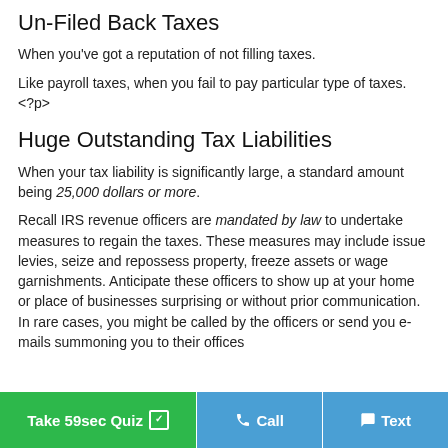Un-Filed Back Taxes
When you've got a reputation of not filling taxes.
Like payroll taxes, when you fail to pay particular type of taxes. <?p>
Huge Outstanding Tax Liabilities
When your tax liability is significantly large, a standard amount being 25,000 dollars or more.
Recall IRS revenue officers are mandated by law to undertake measures to regain the taxes. These measures may include issue levies, seize and repossess property, freeze assets or wage garnishments. Anticipate these officers to show up at your home or place of businesses surprising or without prior communication. In rare cases, you might be called by the officers or send you e-mails summoning you to their offices
Take 59sec Quiz | Call | Text